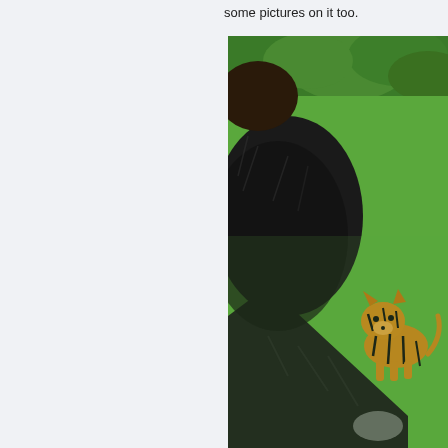some pictures on it too.
[Figure (photo): A dark-furred primate (gorilla or chimpanzee) on green artificial grass, with a small tiger cub on the right side. Green foliage visible in the background. The primate's dark fuzzy arm or body extends across the foreground.]